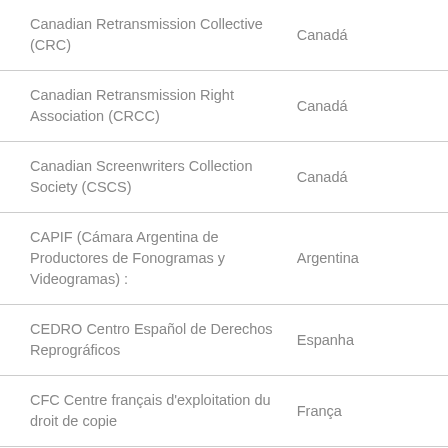| Organization | Country |
| --- | --- |
| Canadian Retransmission Collective (CRC) | Canadá |
| Canadian Retransmission Right Association (CRCC) | Canadá |
| Canadian Screenwriters Collection Society (CSCS) | Canadá |
| CAPIF (Cámara Argentina de Productores de Fonogramas y Videogramas) : | Argentina |
| CEDRO Centro Español de Derechos Reprográficos | Espanha |
| CFC Centre français d'exploitation du droit de copie | França |